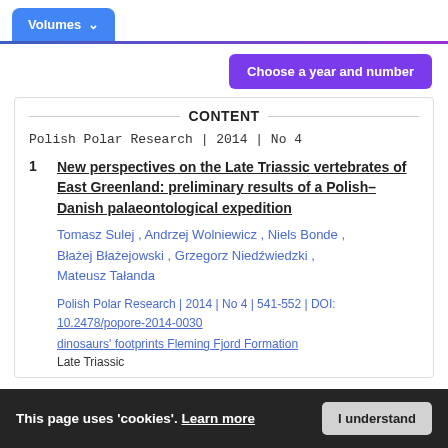Volumes
Choose a year and number
CONTENT
Polish Polar Research | 2014 | No 4
1 New perspectives on the Late Triassic vertebrates of East Greenland: preliminary results of a Polish–Danish palaeontological expedition
Tomasz Sulej , Andrzej Wolniewicz , Niels Bonde , Błażej Błażejowski , Grzegorz Niedźwiedzki , Mateusz Tałanda
Polish Polar Research | 2014 | No 4 | 541-552 | DOI: 10.2478/popore-2014-0030
dinosaurs' footprints Fleming Fjord Formation
Late Triassic
This page uses 'cookies'. Learn more
I understand